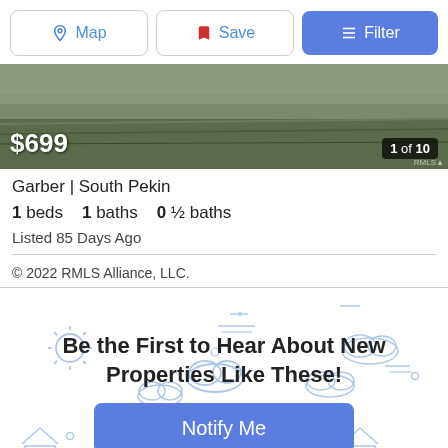[Figure (screenshot): Top navigation bar with Map, Save, and Filter buttons]
[Figure (photo): Property listing photo showing grassy/field landscape with $699 price tag and '1 of 10' photo counter]
Garber | South Pekin
1 beds  1 baths  0 ½ baths
Listed 85 Days Ago
© 2022 RMLS Alliance, LLC.
Be the First to Hear About New Properties Like These!
[Figure (illustration): Weather icon illustration background (sun, clouds) in light blue outline style]